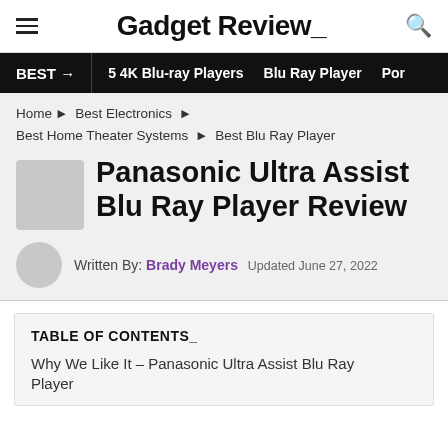Gadget Review_
BEST → | 5 4K Blu-ray Players | Blu Ray Player | Por
Home ▶ Best Electronics ▶ Best Home Theater Systems ▶ Best Blu Ray Player
Panasonic Ultra Assist Blu Ray Player Review
Written By: Brady Meyers  Updated June 27, 2022
TABLE OF CONTENTS_
Why We Like It – Panasonic Ultra Assist Blu Ray Player